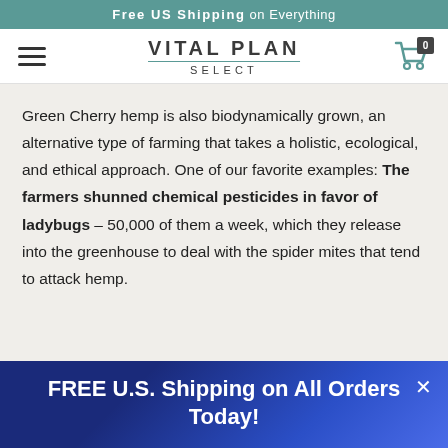Free US Shipping on Everything
[Figure (logo): Vital Plan Select logo with hamburger menu icon on the left and shopping cart icon with badge '0' on the right]
Green Cherry hemp is also biodynamically grown, an alternative type of farming that takes a holistic, ecological, and ethical approach. One of our favorite examples: The farmers shunned chemical pesticides in favor of ladybugs – 50,000 of them a week, which they release into the greenhouse to deal with the spider mites that tend to attack hemp.
FREE U.S. Shipping on All Orders Today!